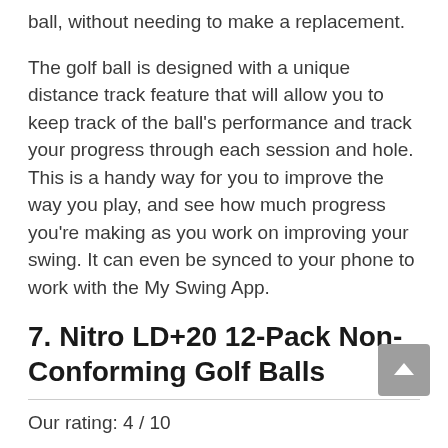ball, without needing to make a replacement.
The golf ball is designed with a unique distance track feature that will allow you to keep track of the ball's performance and track your progress through each session and hole. This is a handy way for you to improve the way you play, and see how much progress you're making as you work on improving your swing. It can even be synced to your phone to work with the My Swing App.
7. Nitro LD+20 12-Pack Non-Conforming Golf Balls
Our rating: 4 / 10